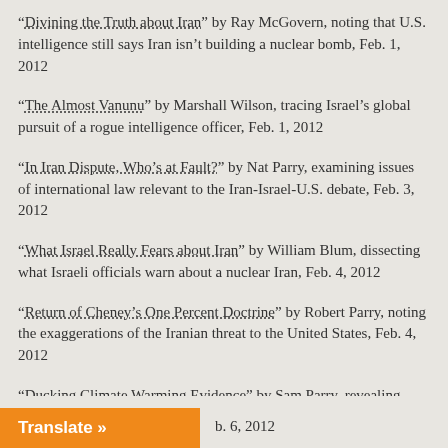“Divining the Truth about Iran” by Ray McGovern, noting that U.S. intelligence still says Iran isn’t building a nuclear bomb, Feb. 1, 2012
“The Almost Vanunu” by Marshall Wilson, tracing Israel’s global pursuit of a rogue intelligence officer, Feb. 1, 2012
“In Iran Dispute, Who’s at Fault?” by Nat Parry, examining issues of international law relevant to the Iran-Israel-U.S. debate, Feb. 3, 2012
“What Israel Really Fears about Iran” by William Blum, dissecting what Israeli officials warn about a nuclear Iran, Feb. 4, 2012
“Return of Cheney’s One Percent Doctrine” by Robert Parry, noting the exaggerations of the Iranian threat to the United States, Feb. 4, 2012
“Ducking Climate Warming Evidence” by Sam Parry, revealing how the mainstream media avoids offending the Right over climate change, Feb. 6, 2012
“Rigging American ‘Democracy’” by Robert Parry, assessing the impact ... Feb. 6, 2012